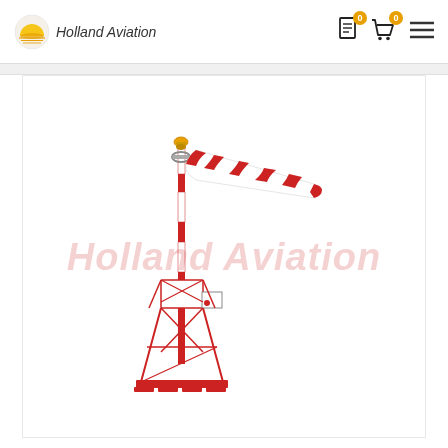Holland Aviation
[Figure (photo): Aviation windsock on a red and white metal lattice tower with a flashing beacon on top. The windsock has alternating red and white stripes and is extended horizontally to the right, indicating wind. A small control box is mounted on the tower. The Holland Aviation watermark appears over the image.]